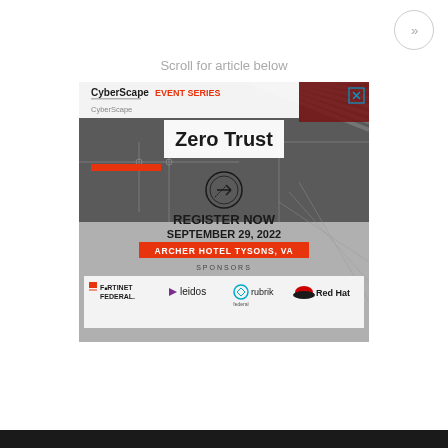»
Scroll for article below
[Figure (advertisement): CyberScape Event Series advertisement banner for Zero Trust event. Register Now September 29, 2022 at Archer Hotel Tysons, VA. Sponsors: Fortinet Federal, Leidos, Rubrik Federal, Red Hat. Dark circuit board background imagery.]